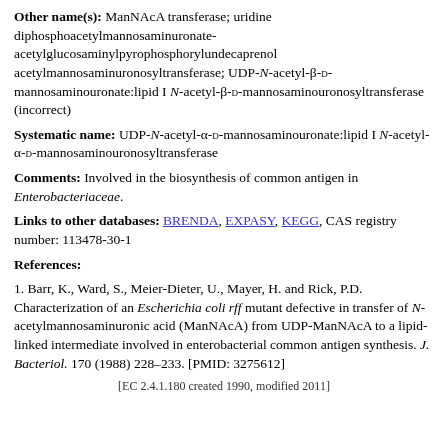Other name(s): ManNAcA transferase; uridine diphosphoacetylmannosaminuronate-acetylglucosaminylpyrophosphorylundecaprenol acetylmannosaminuronosyltransferase; UDP-N-acetyl-β-D-mannosaminouronate:lipid I N-acetyl-β-D-mannosaminouronosyltransferase (incorrect)
Systematic name: UDP-N-acetyl-α-D-mannosaminouronate:lipid I N-acetyl-α-D-mannosaminouronosyltransferase
Comments: Involved in the biosynthesis of common antigen in Enterobacteriaceae.
Links to other databases: BRENDA, EXPASY, KEGG, CAS registry number: 113478-30-1
References:
1. Barr, K., Ward, S., Meier-Dieter, U., Mayer, H. and Rick, P.D. Characterization of an Escherichia coli rff mutant defective in transfer of N-acetylmannosaminuronic acid (ManNAcA) from UDP-ManNAcA to a lipid-linked intermediate involved in enterobacterial common antigen synthesis. J. Bacteriol. 170 (1988) 228–233. [PMID: 3275612]
[EC 2.4.1.180 created 1990, modified 2011]